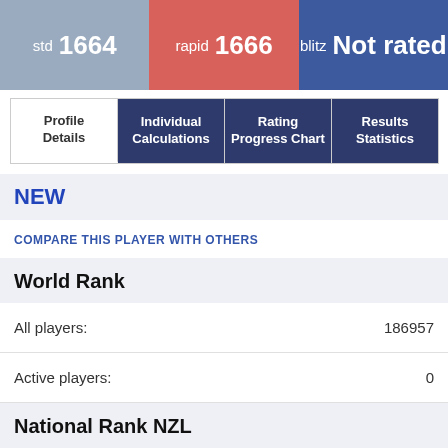std 1664
rapid 1666
blitz Not rated
Profile Details
Individual Calculations
Rating Progress Chart
Results Statistics
NEW
COMPARE THIS PLAYER WITH OTHERS
World Rank
All players: 186957
Active players: 0
National Rank NZL